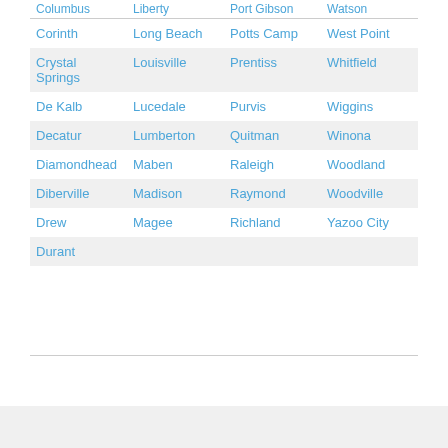| Columbus (partial/cut) | Liberty | Port Gibson | Watson |
| Corinth | Long Beach | Potts Camp | West Point |
| Crystal Springs | Louisville | Prentiss | Whitfield |
| De Kalb | Lucedale | Purvis | Wiggins |
| Decatur | Lumberton | Quitman | Winona |
| Diamondhead | Maben | Raleigh | Woodland |
| Diberville | Madison | Raymond | Woodville |
| Drew | Magee | Richland | Yazoo City |
| Durant |  |  |  |